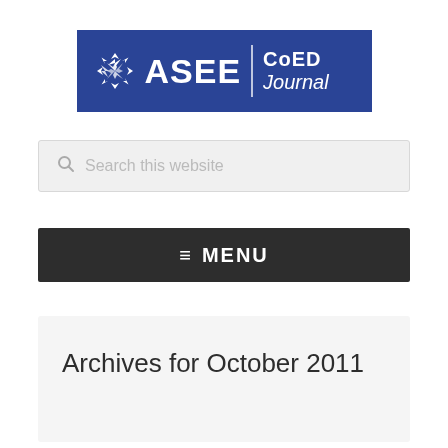[Figure (logo): ASEE CoED Journal logo — blue banner with gear/arrow icon, ASEE text, vertical divider, and 'CoED Journal' text in white]
Search this website
≡  MENU
Archives for October 2011